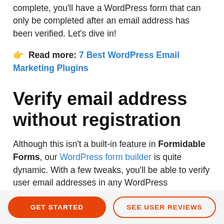complete, you'll have a WordPress form that can only be completed after an email address has been verified. Let's dive in!
👉 Read more: 7 Best WordPress Email Marketing Plugins
Verify email address without registration
Although this isn't a built-in feature in Formidable Forms, our WordPress form builder is quite dynamic. With a few tweaks, you'll be able to verify user email addresses in any WordPress
GET STARTED | SEE USER REVIEWS